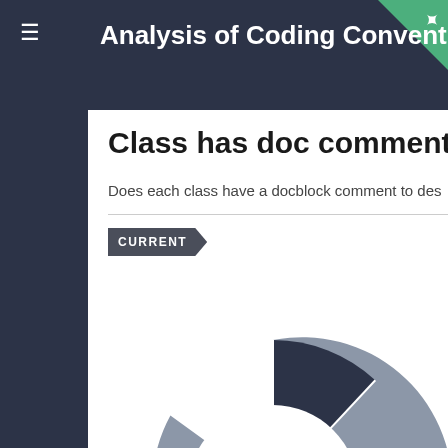Analysis of Coding Conventions for Asse...
Class has doc comment
Does each class have a docblock comment to des...
CURRENT
[Figure (donut-chart): Donut chart showing most classes (~88%) do not have a doc comment (grey), and a small portion (~12%) do (dark navy).]